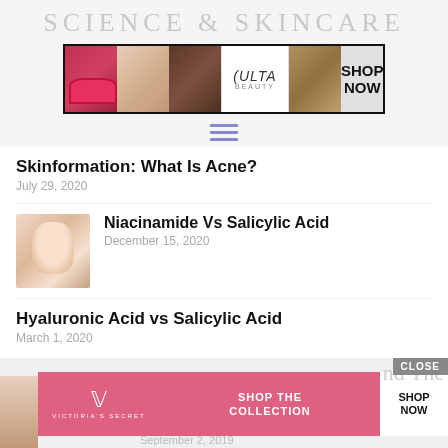SCIENCE & SKINCARE
[Figure (illustration): Ulta beauty advertisement banner with makeup images (lips, brush, eye) and SHOP NOW button]
Skinformation: What Is Acne?
July 29, 2020
[Figure (photo): Woman's face close-up for Niacinamide Vs Salicylic Acid article]
Niacinamide Vs Salicylic Acid
December 15, 2020
Hyaluronic Acid vs Salicylic Acid
March 1, 2020
[Figure (illustration): Victoria's Secret SHOP THE COLLECTION advertisement banner with SHOP NOW button and CLOSE button]
September 2, 2019